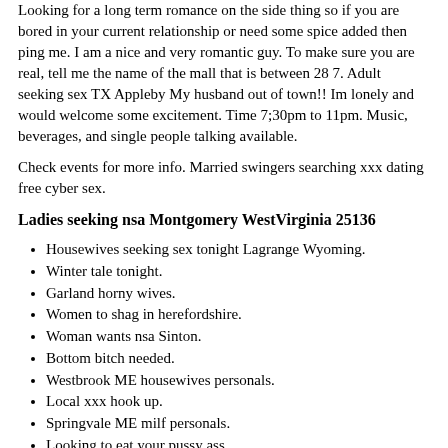Looking for a long term romance on the side thing so if you are bored in your current relationship or need some spice added then ping me. I am a nice and very romantic guy. To make sure you are real, tell me the name of the mall that is between 28 7. Adult seeking sex TX Appleby My husband out of town!! Im lonely and would welcome some excitement. Time 7;30pm to 11pm. Music, beverages, and single people talking available.
Check events for more info. Married swingers searching xxx dating free cyber sex.
Ladies seeking nsa Montgomery WestVirginia 25136
Housewives seeking sex tonight Lagrange Wyoming.
Winter tale tonight.
Garland horny wives.
Women to shag in herefordshire.
Woman wants nsa Sinton.
Bottom bitch needed.
Westbrook ME housewives personals.
Local xxx hook up.
Springvale ME milf personals.
Looking to eat your pussy ass.
Sexy women want sex Mason City.
Hot pussy Winston Salem.
Wives looking sex Plattsburgh.